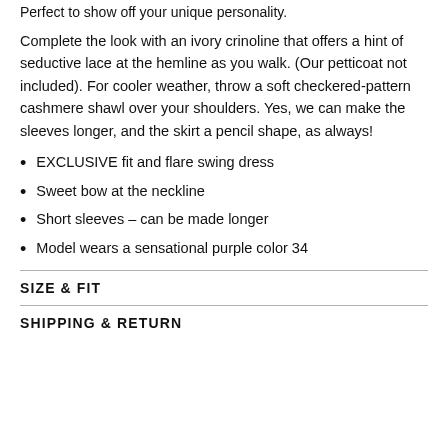Perfect to show off your unique personality.
Complete the look with an ivory crinoline that offers a hint of seductive lace at the hemline as you walk. (Our petticoat not included). For cooler weather, throw a soft checkered-pattern cashmere shawl over your shoulders. Yes, we can make the sleeves longer, and the skirt a pencil shape, as always!
EXCLUSIVE fit and flare swing dress
Sweet bow at the neckline
Short sleeves – can be made longer
Model wears a sensational purple color 34
SIZE & FIT
SHIPPING & RETURN